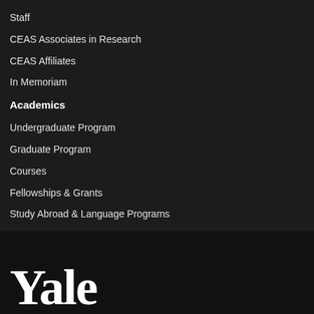Staff
CEAS Associates in Research
CEAS Affiliates
In Memoriam
Academics
Undergraduate Program
Graduate Program
Courses
Fellowships & Grants
Study Abroad & Language Programs
Postdoctoral Program
Events
[Figure (logo): Yale university logo text in large serif white font on dark background]